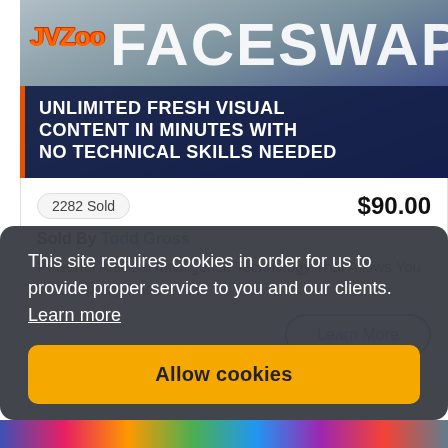[Figure (screenshot): JVZoo FaceSwap product banner with logo and tagline]
2282 Sold
$90.00
Sold By Todd Gross
Powerful Artificial Intelligence Technology That Allows You To Swap Any Fac...
Learn More
This site requires cookies in order for us to provide proper service to you and our clients. Learn more
Allow cookies